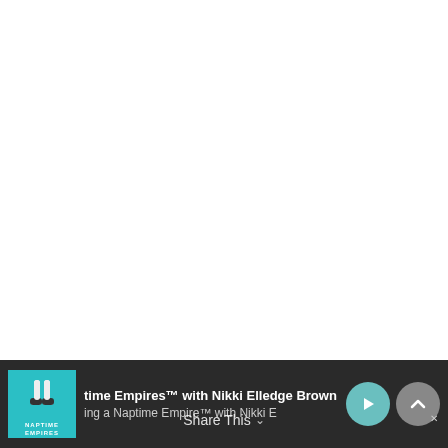[Figure (screenshot): White empty content area occupying the top portion of the page]
[Figure (screenshot): Podcast player bar at the bottom. Shows album art for 'Naptime Empires' podcast, track title 'time Empires™ with Nikki Elledge Brown' and subtitle 'ing a Naptime Empire™ with Nikki E', with play button and up chevron button. A 'Share This' label with chevron is overlaid.]